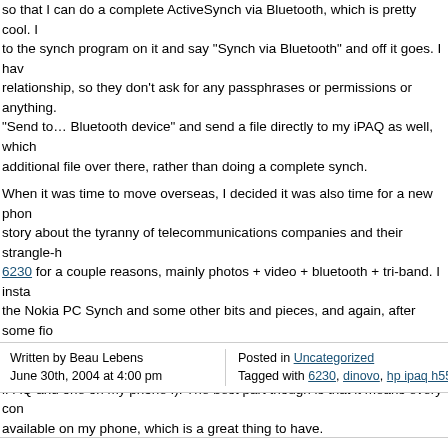so that I can do a complete ActiveSynch via Bluetooth, which is pretty cool. I to the synch program on it and say "Synch via Bluetooth" and off it goes. I hav relationship, so they don't ask for any passphrases or permissions or anything. "Send to… Bluetooth device" and send a file directly to my iPAQ as well, which additional file over there, rather than doing a complete synch.
When it was time to move overseas, I decided it was also time for a new phon story about the tyranny of telecommunications companies and their strangle-h 6230 for a couple reasons, mainly photos + video + bluetooth + tri-band. I insta the Nokia PC Synch and some other bits and pieces, and again, after some fio had it synching up with my PC (Outlook)'s Contacts and Calendar entries. Nov iPAQ and one on my phone :). The best part though is that it means every con available on my phone, which is a great thing to have.
So my Bluetooth Triangle consists of my desktop PC, which includes Bluetoot but which provides a central connection point for my phone which synchs in co ability to transfer photos and videos (and MP3s, since it has a media player bu synchronisation with the desktop. I also can use my iPAQ to edit images taken 'toothing them over to it, working away, then 'toothing them back – easy!
Written by Beau Lebens
June 30th, 2004 at 4:00 pm
Posted in Uncategorized
Tagged with 6230, dinovo, hp ipaq h5550,